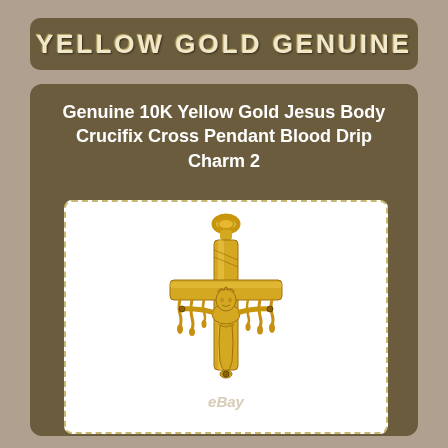YELLOW GOLD GENUINE
Genuine 10K Yellow Gold Jesus Body Crucifix Cross Pendant Blood Drip Charm 2
[Figure (photo): Gold crucifix pendant with Jesus body and blood drip design, 10K yellow gold, shown on white background with eBay watermark]